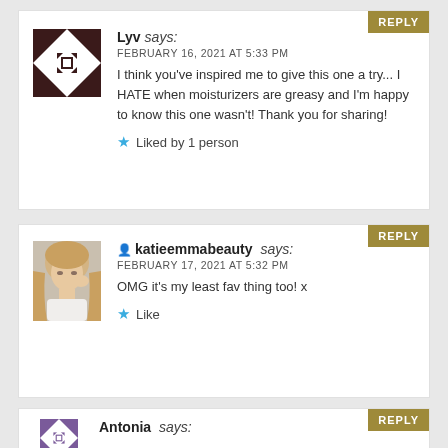Lyv says: FEBRUARY 16, 2021 AT 5:33 PM
I think you've inspired me to give this one a try... I HATE when moisturizers are greasy and I'm happy to know this one wasn't! Thank you for sharing!
★ Liked by 1 person
katieemmabeauty says: FEBRUARY 17, 2021 AT 5:32 PM
OMG it's my least fav thing too! x
★ Like
Antonia says: